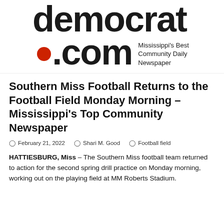[Figure (logo): democrat.com newspaper logo with red dot and tagline 'Mississippi's Best Community Daily Newspaper']
Southern Miss Football Returns to the Football Field Monday Morning – Mississippi's Top Community Newspaper
February 21, 2022   Shari M. Good   Football field
HATTIESBURG, Miss – The Southern Miss football team returned to action for the second spring drill practice on Monday morning, working out on the playing field at MM Roberts Stadium.